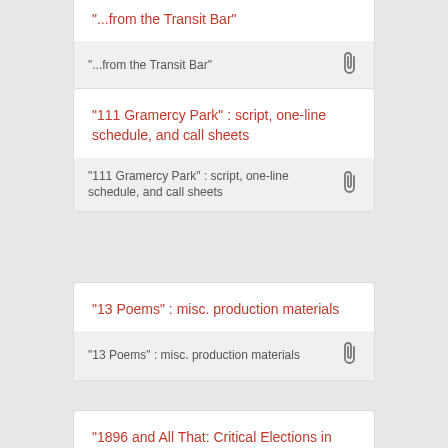"...from the Transit Bar"
"...from the Transit Bar"
"111 Gramercy Park" : script, one-line schedule, and call sheets
"111 Gramercy Park" : script, one-line schedule, and call sheets
"13 Poems" : misc. production materials
"13 Poems" : misc. production materials
"1896 and All That: Critical Elections in Canada"